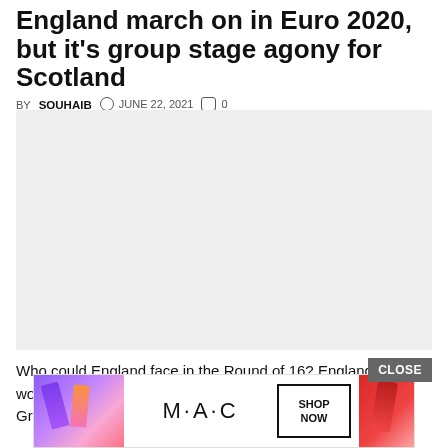England march on in Euro 2020, but it's group stage agony for Scotland
BY SOUHAIB  JUNE 22, 2021  0
[Figure (photo): Light grey placeholder image for the article]
Who could England face in the Round of 16? England have won Group D That means they will face the runners up of Group F - the so-called 'Group of...
[Figure (other): MAC cosmetics advertisement with lipsticks, MAC logo, and SHOP NOW button]